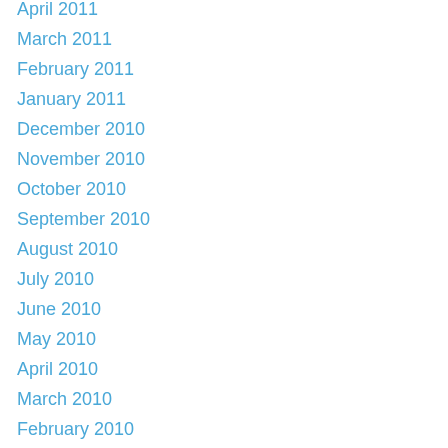April 2011
March 2011
February 2011
January 2011
December 2010
November 2010
October 2010
September 2010
August 2010
July 2010
June 2010
May 2010
April 2010
March 2010
February 2010
January 2010
December 2009
November 2009
October 2009
September 2009
August 2009